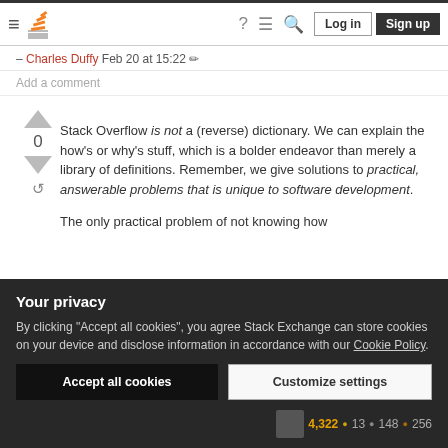Stack Overflow navigation bar with Log in and Sign up buttons
– Charles Duffy Feb 20 at 15:22
Add a comment
Stack Overflow is not a (reverse) dictionary. We can explain the how's or why's stuff, which is a bolder endeavor than merely a library of definitions. Remember, we give solutions to practical, answerable problems that is unique to software development.
The only practical problem of not knowing how
Your privacy
By clicking "Accept all cookies", you agree Stack Exchange can store cookies on your device and disclose information in accordance with our Cookie Policy.
Accept all cookies   Customize settings
4,322 ● 13 ● 148 ● 256